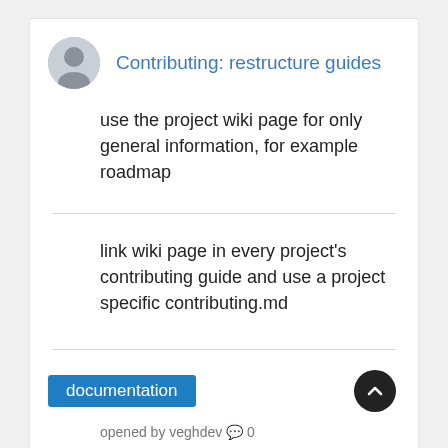Contributing: restructure guides
use the project wiki page for only general information, for example roadmap
link wiki page in every project's contributing guide and use a project specific contributing.md
documentation
opened by veghdev 0